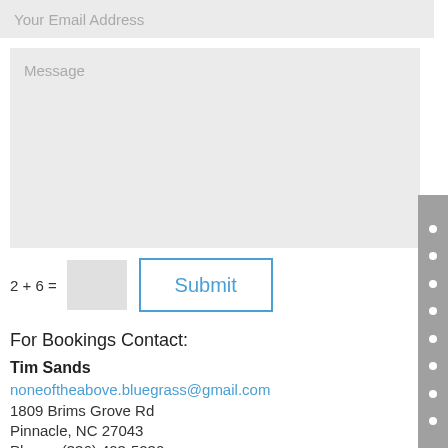Your Email Address
Message
2 + 6 =
Submit
For Bookings Contact:
Tim Sands
noneoftheabove.bluegrass@gmail.com
1809 Brims Grove Rd
Pinnacle, NC 27043
Phone: (336) 403-5230